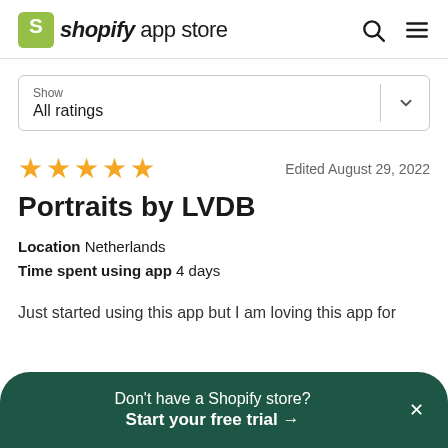shopify app store
Show
All ratings
[Figure (other): Five gold star rating]
Edited August 29, 2022
Portraits by LVDB
Location  Netherlands
Time spent using app  4 days
Just started using this app but I am loving this app for
Don't have a Shopify store?
Start your free trial →